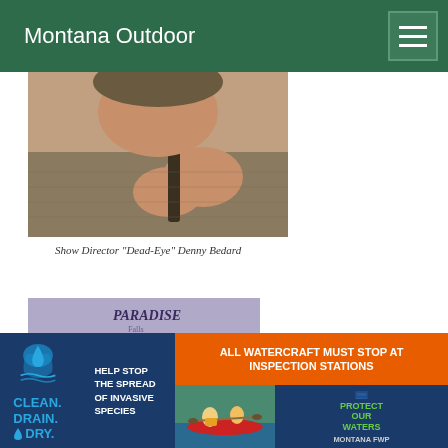Montana Outdoor
[Figure (photo): Close-up photo of Show Director Denny Bedard, showing hands and upper torso]
Show Director "Dead-Eye" Denny Bedard
[Figure (photo): Photo of a man with headphones in front of a Paradise Falls sign reading 'The New Home of Ca__ the Big On__ ks of Brooks Street']
[Figure (infographic): Advertisement banner: Clean. Drain. Dry. - Help Stop the Spread of Invasive Species - All Watercraft Must Stop at Inspection Stations - Protect Our Waters Montana FWP]